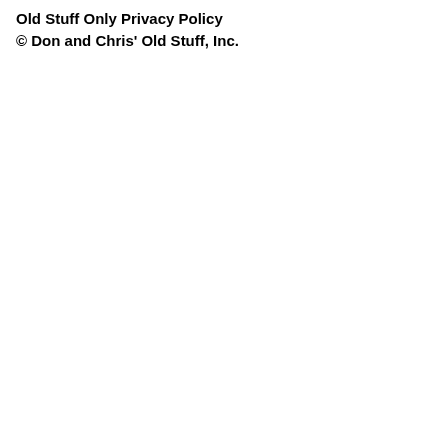Old Stuff Only Privacy Policy
© Don and Chris' Old Stuff, Inc.